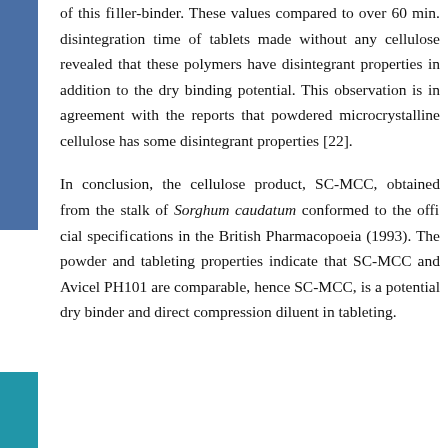of this filler-binder. These values compared to over 60 min. disintegration time of tablets made without any cellulose revealed that these polymers have disintegrant properties in addition to the dry binding potential. This observation is in agreement with the reports that powdered microcrystalline cellulose has some disintegrant properties [22].
In conclusion, the cellulose product, SC-MCC, obtained from the stalk of Sorghum caudatum conformed to the official specifications in the British Pharmacopoeia (1993). The powder and tableting properties indicate that SC-MCC and Avicel PH101 are comparable, hence SC-MCC, is a potential dry binder and direct compression diluent in tableting.